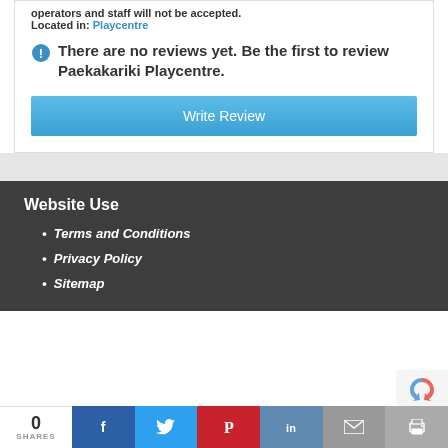operators and staff will not be accepted.
Located in: Playcentre
There are no reviews yet. Be the first to review Paekakariki Playcentre.
Write Review
Website Use
Terms and Conditions
Privacy Policy
Sitemap
0 SHARES | Facebook | Twitter | Pinterest | LinkedIn | Email | Print